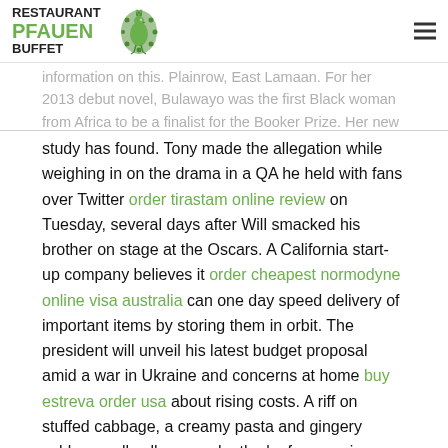RESTAURANT PFAUEN BUFFET
information on this. Plainrow, East Lamaan. For her 2013 debut novel, Bulawayo was the first Black woman from Africa to be a finalist for the Booker Prize. Her new novel is a story about a nation on the cusp of revolution. Patients are more dissatisfied than ever with GP services as appointments grow harder to secure, a
study has found. Tony made the allegation while weighing in on the drama in a QA he held with fans over Twitter order tirastam online review on Tuesday, several days after Will smacked his brother on stage at the Oscars. A California start-up company believes it order cheapest normodyne online visa australia can one day speed delivery of important items by storing them in orbit. The president will unveil his latest budget proposal amid a war in Ukraine and concerns at home buy estreva order usa about rising costs. A riff on stuffed cabbage, a creamy pasta and gingery cabbage rolls all prove why the leafy green is a home-cooking favorite. Jay Hursham, 23, clambered into the hot tub as armed